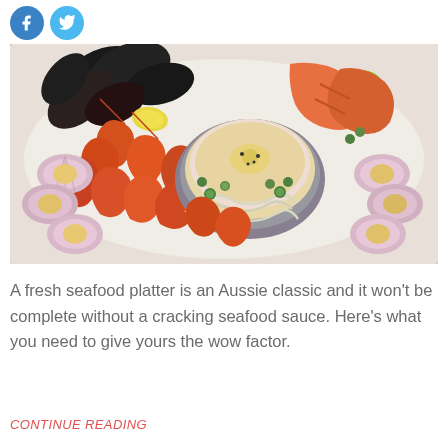[Figure (photo): Overhead view of a fresh seafood platter with mussels, prawns/shrimp, scallops, lobster/crayfish, and a bowl of creamy dipping sauce, garnished with herbs and lemon/lime slices, arranged on a white board]
A fresh seafood platter is an Aussie classic and it won't be complete without a cracking seafood sauce. Here's what you need to give yours the wow factor.
CONTINUE READING